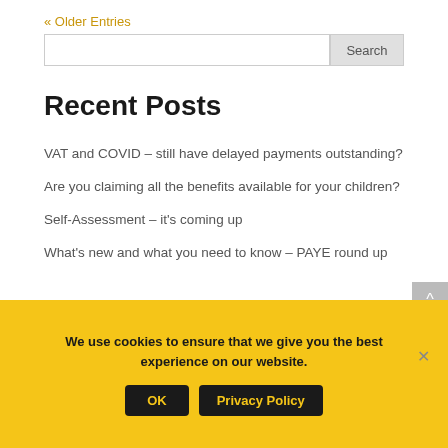« Older Entries
Recent Posts
VAT and COVID – still have delayed payments outstanding?
Are you claiming all the benefits available for your children?
Self-Assessment – it's coming up
What's new and what you need to know – PAYE round up
We use cookies to ensure that we give you the best experience on our website.